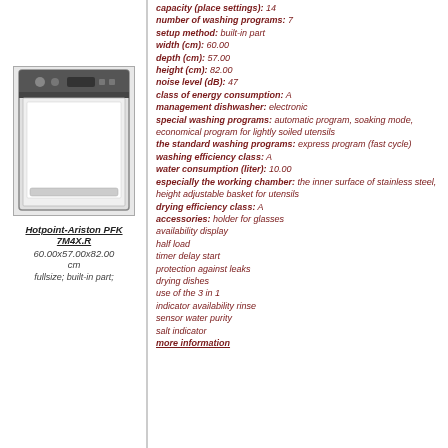[Figure (photo): Hotpoint-Ariston PFK 7M4X.R dishwasher product photo, white built-in dishwasher with control panel]
Hotpoint-Ariston PFK 7M4X.R
60.00x57.00x82.00 cm
fullsize; built-in part;
capacity (place settings): 14
number of washing programs: 7
setup method: built-in part
width (cm): 60.00
depth (cm): 57.00
height (cm): 82.00
noise level (dB): 47
class of energy consumption: A
management dishwasher: electronic
special washing programs: automatic program, soaking mode, economical program for lightly soiled utensils
the standard washing programs: express program (fast cycle)
washing efficiency class: A
water consumption (liter): 10.00
especially the working chamber: the inner surface of stainless steel, height adjustable basket for utensils
drying efficiency class: A
accessories: holder for glasses
availability display
half load
timer delay start
protection against leaks
drying dishes
use of the 3 in 1
indicator availability rinse
sensor water purity
salt indicator
more information